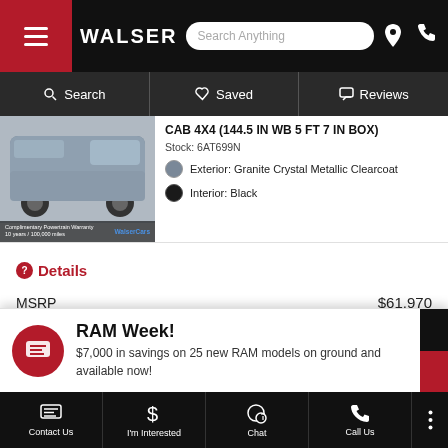WALSER | Search Anything
Search | Saved | Reviews
CAB 4X4 (144.5 IN WB 5 FT 7 IN BOX)
Stock: 6AT699N
Exterior: Granite Crystal Metallic Clearcoat
Interior: Black
Details
|  |  |
| --- | --- |
| MSRP | $61,970 |
| Upfront Price | $54,557 |
RAM Week! $7,000 in savings on 25 new RAM models on ground and available now!
Contact Us | I'm Interested | Chat | Call Us